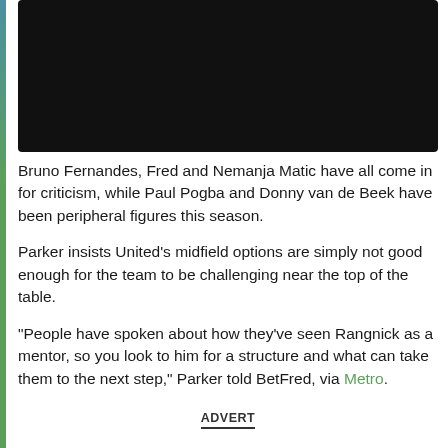[Figure (photo): Dark/black image at the top of the page, likely a video thumbnail or photograph with very dark content]
Bruno Fernandes, Fred and Nemanja Matic have all come in for criticism, while Paul Pogba and Donny van de Beek have been peripheral figures this season.
Parker insists United's midfield options are simply not good enough for the team to be challenging near the top of the table.
“People have spoken about how they’ve seen Rangnick as a mentor, so you look to him for a structure and what can take them to the next step,” Parker told BetFred, via Metro.
ADVERT